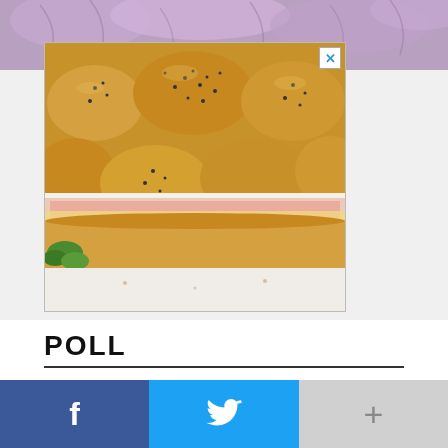[Figure (photo): Top portion of a food photo showing chopped red/purple onions on a cutting board, partially visible at the top of the page]
[Figure (photo): Advertisement photo showing a tray of Hawaiian-style ham and cheese sliders/sandwiches with poppy seed topped buns, with garnish visible. Has a blue X close button in the top right corner.]
POLL
Do you think Sen. Elizabeth Warren could run for president again in 2024?